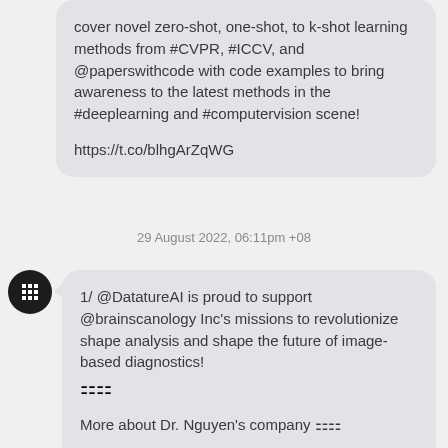cover novel zero-shot, one-shot, to k-shot learning methods from #CVPR, #ICCV, and @paperswithcode with code examples to bring awareness to the latest methods in the #deeplearning and #computervision scene!

https://t.co/blhgArZqWG
29 August 2022, 06:11pm +08
[Figure (logo): Dark circular avatar with a white pixel/grid icon inside]
1/ @DatatureAI is proud to support @brainscanology Inc's missions to revolutionize shape analysis and shape the future of image-based diagnostics! 🟰🟰

More about Dr. Nguyen's company 🟰🟰

https://t.co/v5zt4IKdzJ